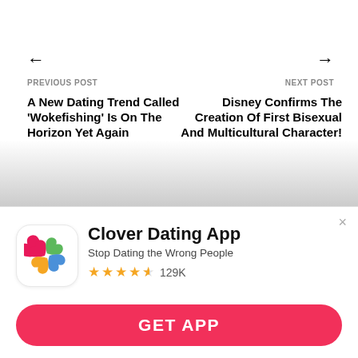← PREVIOUS POST
NEXT POST →
A New Dating Trend Called 'Wokefishing' Is On The Horizon Yet Again
Disney Confirms The Creation Of First Bisexual And Multicultural Character!
[Figure (logo): Clover Dating App icon with four heart-shaped leaves in pink, green, blue, and orange/yellow, forming a clover shape on white rounded square background]
Clover Dating App
Stop Dating the Wrong People
★★★★½ 129K
GET APP